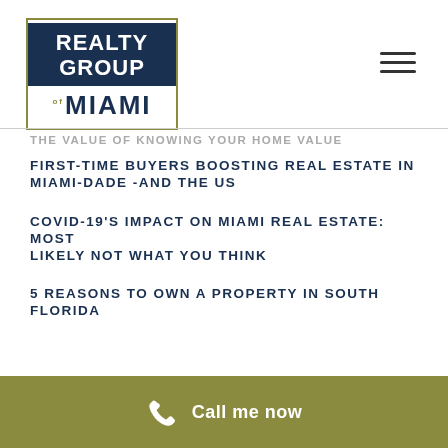[Figure (logo): Realty Group of Miami logo — navy blue box with white text 'REALTY GROUP' on top half, white box with dark navy 'MIAMI' text on bottom half, gold border]
THE VALUE OF KNOWING YOUR HOME VALUE
FIRST-TIME BUYERS BOOSTING REAL ESTATE IN MIAMI-DADE -AND THE US
COVID-19'S IMPACT ON MIAMI REAL ESTATE: MOST LIKELY NOT WHAT YOU THINK
5 REASONS TO OWN A PROPERTY IN SOUTH FLORIDA
Call me now